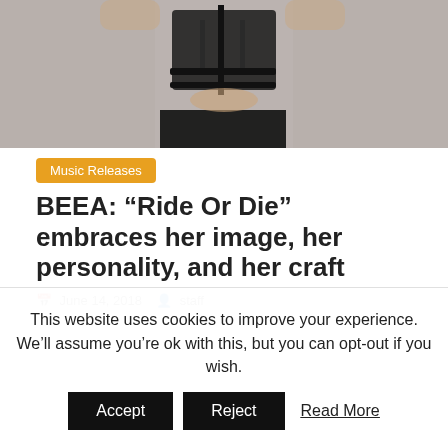[Figure (photo): Cropped photo of a person wearing a black lace harness-style top against a grey background, showing torso and arms raised.]
Music Releases
BEEA: “Ride Or Die” embraces her image, her personality, and her craft
June 14, 2018  staff
This website uses cookies to improve your experience. We’ll assume you’re ok with this, but you can opt-out if you wish.
Accept  Reject  Read More